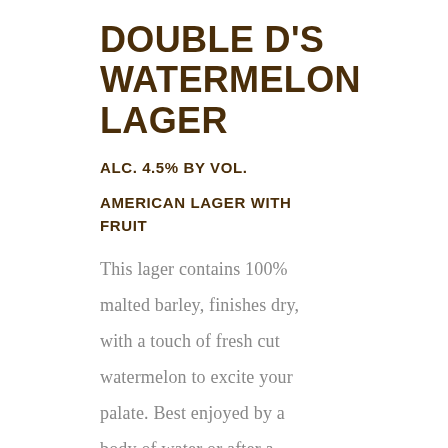DOUBLE D'S WATERMELON LAGER
ALC. 4.5% BY VOL.
AMERICAN LAGER WITH FRUIT
This lager contains 100% malted barley, finishes dry, with a touch of fresh cut watermelon to excite your palate. Best enjoyed by a body of water or after a